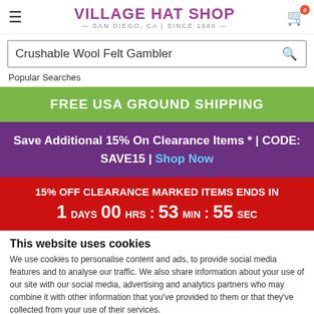VILLAGE HAT SHOP — SAN DIEGO, CA | SINCE 1980
Crushable Wool Felt Gambler
Popular Searches
FREE USA GROUND SHIPPING
Save Additional 15% On Clearance Items * | CODE: SAVE15 | Shop Now
15% OFF CLEARANCE MARKED ITEMS ENDS IN 1 DAYS 00 HRS : 53 MIN : 55 SEC
This website uses cookies
We use cookies to personalise content and ads, to provide social media features and to analyse our traffic. We also share information about your use of our site with our social media, advertising and analytics partners who may combine it with other information that you've provided to them or that they've collected from your use of their services.
Allow all cookies
Show details